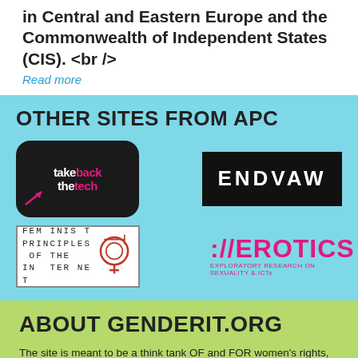in Central and Eastern Europe and the Commonwealth of Independent States (CIS). <br />
Read more
OTHER SITES FROM APC
[Figure (logo): Take Back the Tech logo - black rounded rectangle with white and pink text]
[Figure (logo): ENDVAW logo - black rectangle with white bold text ENDVAW]
[Figure (logo): Feminist Principles of the Internet logo - white box with monospace spaced text and gender symbol]
[Figure (logo): //EROTICS - Exploratory Research on Sexuality & ICTs logo in pink/red]
ABOUT GENDERIT.ORG
The site is meant to be a think tank OF and FOR women's rights, sexual rights and Internet rights activists, academics, journalists and advocates. We carry articles, news, podcasts, videos, comics and